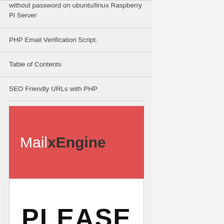without password on ubuntu/linux Raspberry Pi Server
PHP Email Verification Script.
Table of Contents
SEO Friendly URLs with PHP
[Figure (logo): MailxEngine logo on red background]
[Figure (illustration): Please banner with bold text and red bar at bottom]